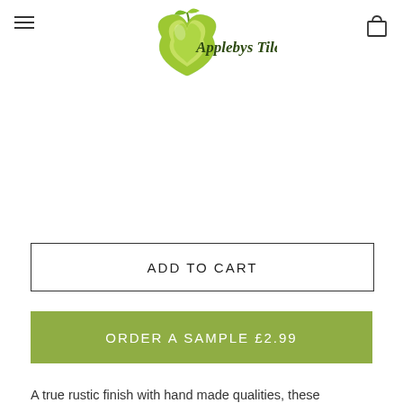Applebys Tiles
ADD TO CART
ORDER A SAMPLE £2.99
A true rustic finish with hand made qualities, these Imperium Brown Metro Wall Tiles 15 x 7.5 are packed full of character. They are the perfect addition for those looking for a more traditional finish in their home thanks to their bumpy gloss finish.

The Imperium Metro Wall tiles have been designed to be used